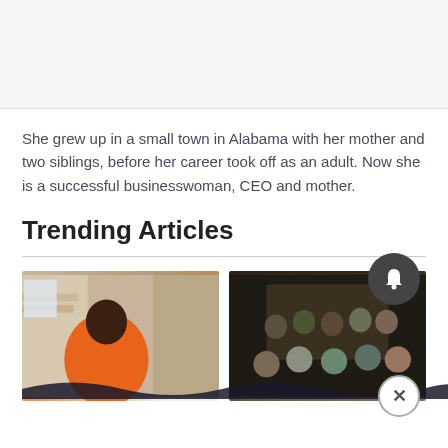[Figure (other): Gray background area at top of page, likely a banner or image placeholder]
She grew up in a small town in Alabama with her mother and two siblings, before her career took off as an adult. Now she is a successful businesswoman, CEO and mother.
Trending Articles
[Figure (photo): Photo of a woman in an orange shirt working at a table, with brick wall in background]
[Figure (photo): Group photo of multiple people posing together in a dark interior setting]